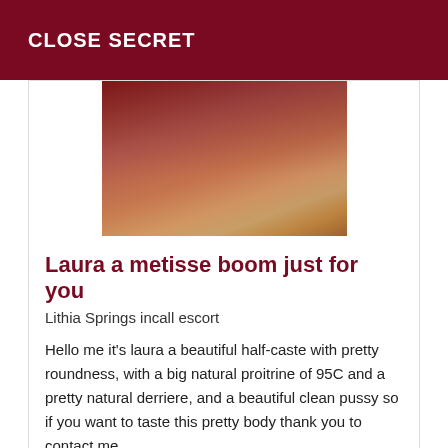CLOSE SECRET
[Figure (photo): Blurry close-up photo of legs in high heels on a reddish background]
Laura a metisse boom just for you
Lithia Springs incall escort
Hello me it's laura a beautiful half-caste with pretty roundness, with a big natural proitrine of 95C and a pretty natural derriere, and a beautiful clean pussy so if you want to taste this pretty body thank you to contact me.
Online